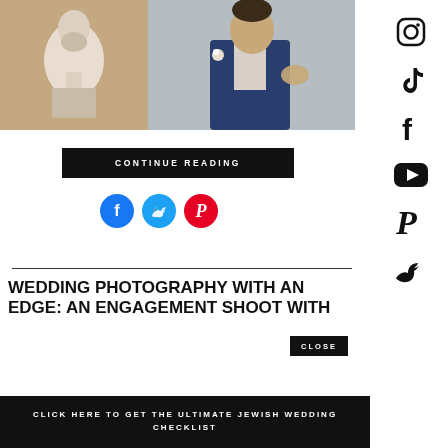[Figure (photo): Wedding photo: left side shows a classical marble bust sculpture; right side shows a groom in a blue suit with boutonniere gesturing with his hand]
CONTINUE READING
[Figure (infographic): Three social share buttons: Facebook (blue circle), Twitter (light blue circle), Pinterest (red circle)]
WEDDING PHOTOGRAPHY WITH AN EDGE: AN ENGAGEMENT SHOOT WITH
CLOSE
CLICK HERE TO GET THE ULTIMATE JEWISH WEDDING CHECKLIST
[Figure (infographic): Right sidebar with social media icons: Instagram, TikTok, Facebook, YouTube, Pinterest, Twitter]